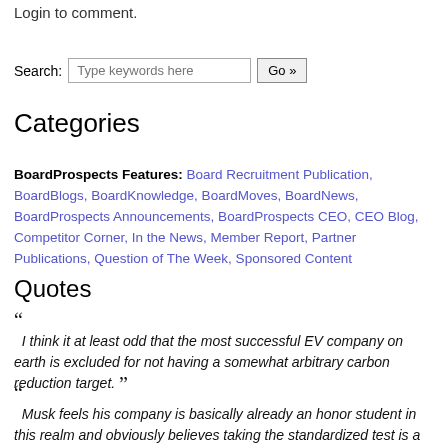Login to comment.
Search: [Type keywords here] Go »
Categories
BoardProspects Features: Board Recruitment Publication, BoardBlogs, BoardKnowledge, BoardMoves, BoardNews, BoardProspects Announcements, BoardProspects CEO, CEO Blog, Competitor Corner, In the News, Member Report, Partner Publications, Question of The Week, Sponsored Content
Quotes
“ I think it at least odd that the most successful EV company on earth is excluded for not having a somewhat arbitrary carbon reduction target. ”
“ Musk feels his company is basically already an honor student in this realm and obviously believes taking the standardized test is a waste of time and money. ”